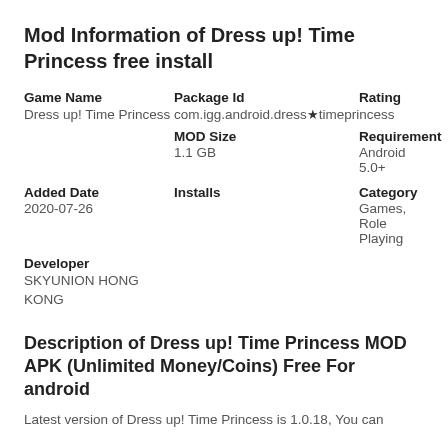Mod Information of Dress up! Time Princess free install
| Game Name | Package Id | Rating |
| --- | --- | --- |
| Dress up! Time Princess | com.igg.android.dresstimeprincess |  |
|  | MOD Size | Requirement |
|  | 1.1 GB | Android 5.0+ |
| Added Date | Installs | Category |
| 2020-07-26 |  | Games, Role Playing |
| Developer |  |  |
| SKYUNION HONG KONG |  |  |
Description of Dress up! Time Princess MOD APK (Unlimited Money/Coins) Free For android
Latest version of Dress up! Time Princess is 1.0.18, You can